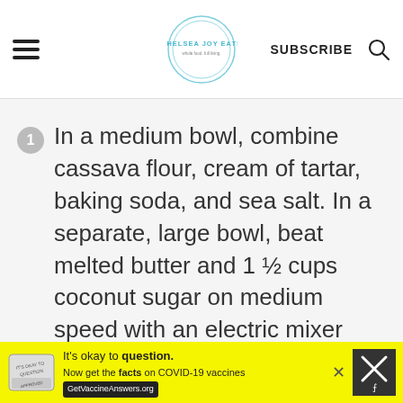Chelsea Joy Eats | SUBSCRIBE
In a medium bowl, combine cassava flour, cream of tartar, baking soda, and sea salt. In a separate, large bowl, beat melted butter and 1 ½ cups coconut sugar on medium speed with an electric mixer until incorporated. Scrape in the seeds from a
[Figure (infographic): Advertisement banner: It's okay to question. Now get the facts on COVID-19 vaccines. GetVaccineAnswers.org]